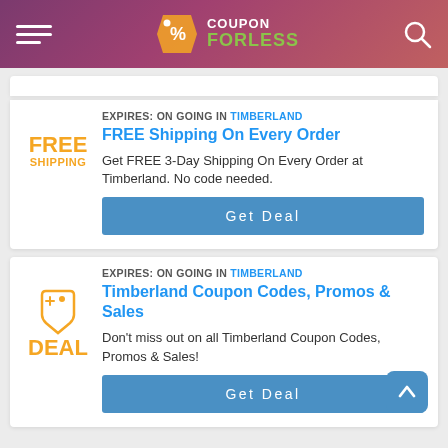COUPON FORLESS
EXPIRES: ON GOING in Timberland
FREE Shipping On Every Order
Get FREE 3-Day Shipping On Every Order at Timberland. No code needed.
Get Deal
EXPIRES: ON GOING in Timberland
Timberland Coupon Codes, Promos & Sales
Don't miss out on all Timberland Coupon Codes, Promos & Sales!
Get Deal